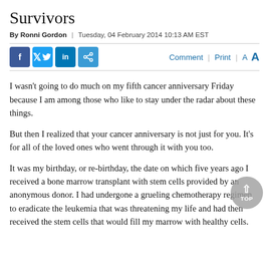Survivors
By Ronni Gordon  |  Tuesday, 04 February 2014 10:13 AM EST
I wasn't going to do much on my fifth cancer anniversary Friday because I am among those who like to stay under the radar about these things.
But then I realized that your cancer anniversary is not just for you. It’s for all of the loved ones who went through it with you too.
It was my birthday, or re-birthday, the date on which five years ago I received a bone marrow transplant with stem cells provided by an anonymous donor. I had undergone a grueling chemotherapy regimen to eradicate the leukemia that was threatening my life and had then received the stem cells that would fill my marrow with healthy cells.